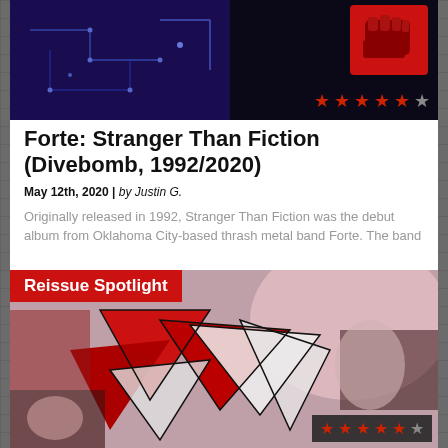[Figure (photo): Dark blue/purple background image with circuit-board-like patterns, with a red raised fist icon at top right, and a 4.5-star red rating overlay at bottom right]
Forte: Stranger Than Fiction (Divebomb, 1992/2020)
May 12th, 2020 | by Justin G.
Originally released in 1992, Stranger Than Fiction was the debut album from Oklahoma City-based thrash metal band Forte. The band
[Figure (photo): Album artwork collage for Forte Stranger Than Fiction reissue, showing fragmented black and white photos of band members with red star graphic overlays, with 'Reissue Spotlight' label in red at top left and a 4.5 out of 5 star rating at bottom right]